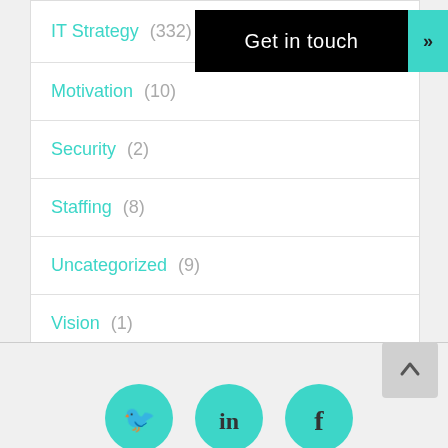Get in touch »
IT Strategy (332)
Motivation (10)
Security (2)
Staffing (8)
Uncategorized (9)
Vision (1)
Work-Life Balance (3)
[Figure (illustration): Social media icons: Twitter, LinkedIn, Facebook as teal circles at bottom of page]